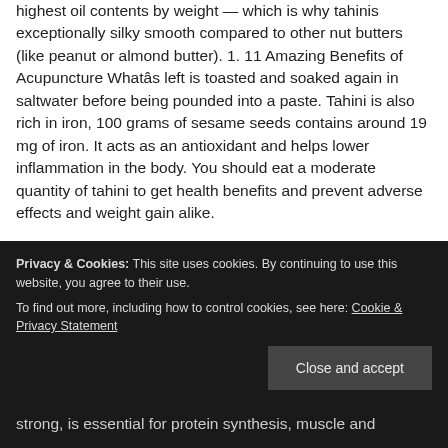highest oil contents by weight — which is why tahinis exceptionally silky smooth compared to other nut butters (like peanut or almond butter). 1. 11 Amazing Benefits of Acupuncture What's left is toasted and soaked again in saltwater before being pounded into a paste. Tahini is also rich in iron, 100 grams of sesame seeds contains around 19 mg of iron. It acts as an antioxidant and helps lower inflammation in the body. You should eat a moderate quantity of tahini to get health benefits and prevent adverse effects and weight gain alike.
are clickable links to medically peer-reviewed studies. You can incorporate sesame seeds in any form into your diet. When you think of copper, pennies might be the first
Privacy & Cookies: This site uses cookies. By continuing to use this website, you agree to their use.
To find out more, including how to control cookies, see here: Cookie & Privacy Statement
strong, is essential for protein synthesis, muscle and